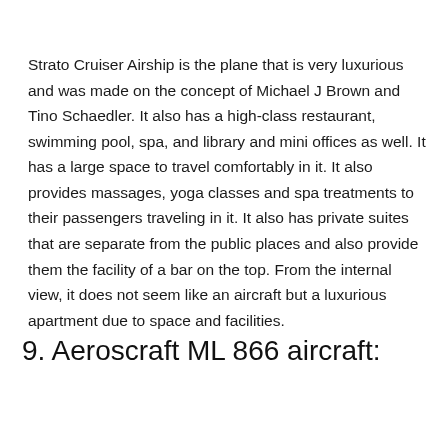Strato Cruiser Airship is the plane that is very luxurious and was made on the concept of Michael J Brown and Tino Schaedler. It also has a high-class restaurant, swimming pool, spa, and library and mini offices as well. It has a large space to travel comfortably in it. It also provides massages, yoga classes and spa treatments to their passengers traveling in it. It also has private suites that are separate from the public places and also provide them the facility of a bar on the top. From the internal view, it does not seem like an aircraft but a luxurious apartment due to space and facilities.
9. Aeroscraft ML 866 aircraft: